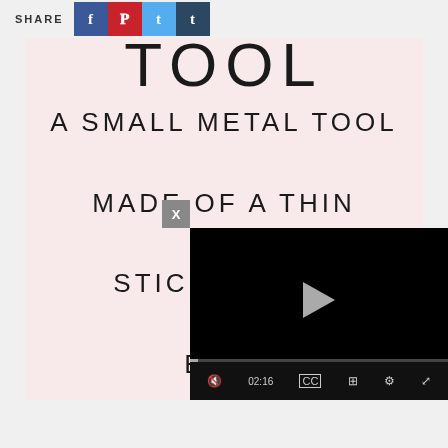SHARE
TOOL
A SMALL METAL TOOL MADE OF A THIN STICK W[ITH A] BALL [AT THE END,] USED FOR NAIL ART
[Figure (screenshot): Embedded video player overlay showing a black video with play button, progress bar reading 02:16, and video controls including mute, CC, grid, settings, and fullscreen buttons]